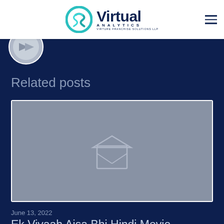Virtual Analytics
[Figure (logo): Virtual Analytics logo with teal swirl S icon and dark blue text reading 'Virtual' with 'ANALYTICS' subtitle]
[Figure (photo): Circular avatar image with grey gradient tones, partially visible at top of dark navy content area]
Related posts
[Figure (photo): Grey placeholder image with a faint envelope/image icon in the center, representing a missing post thumbnail]
June 13, 2022
Ek Vivaah Aisa Bhi Hindi Movie BEST Download Kaise Kare...